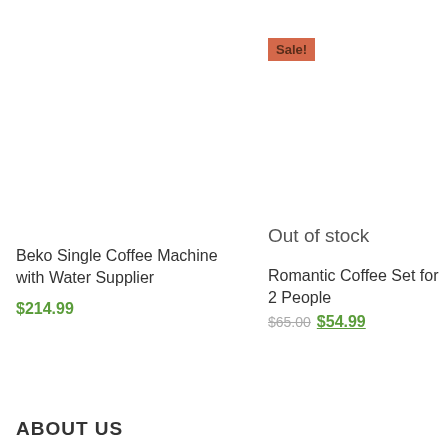Sale!
Out of stock
Beko Single Coffee Machine with Water Supplier
$214.99
Romantic Coffee Set for 2 People
$65.00  $54.99
ABOUT US